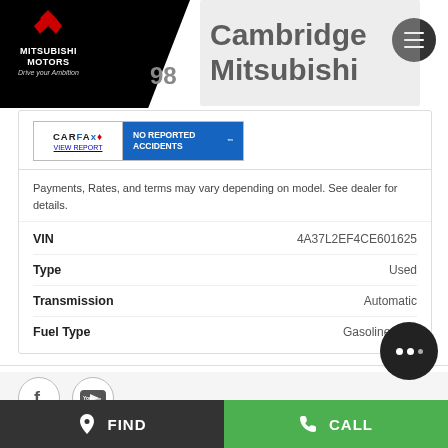[Figure (logo): Mitsubishi Motors logo with red diamond symbol and tagline 'Drive your Ambition' on black background]
Cambridge Mitsubishi
[Figure (other): CARFAX Canada badge showing 'NO REPORTED ACCIDENTS' in blue, with VIEW REPORT link]
Payments, Rates, and terms may vary depending on model. See dealer for details.
| Field | Value |
| --- | --- |
| VIN | 4A37L2EF4CE601625 |
| Type | Used |
| Transmission | Automatic |
| Fuel Type | Gasoline Fuel |
[Figure (logo): Social media icons: Facebook and YouTube]
FIND   CALL